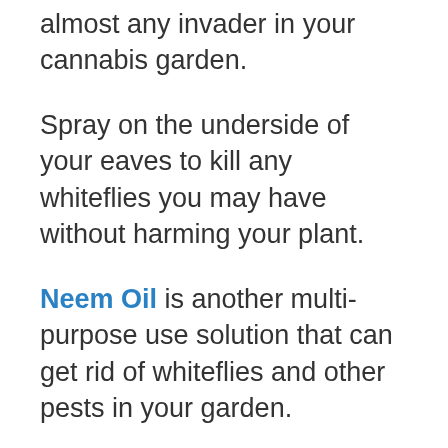almost any invader in your cannabis garden.
Spray on the underside of your eaves to kill any whiteflies you may have without harming your plant.
Neem Oil is another multi-purpose use solution that can get rid of whiteflies and other pests in your garden.
This concentrate is made from the seed of a neem tree.
There are many different types of neem oil out there some are ready to go.